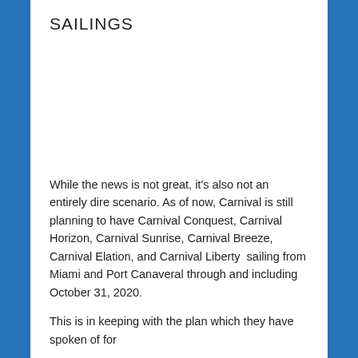SAILINGS
While the news is not great, it's also not an entirely dire scenario. As of now, Carnival is still planning to have Carnival Conquest, Carnival Horizon, Carnival Sunrise, Carnival Breeze, Carnival Elation, and Carnival Liberty  sailing from Miami and Port Canaveral through and including October 31, 2020.
This is in keeping with the plan which they have spoken of for